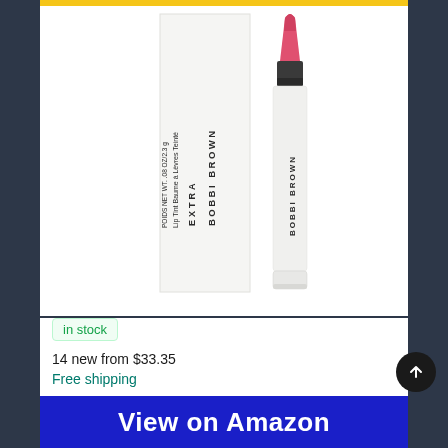[Figure (photo): Bobbi Brown Extra Lip Tint product photo showing the lipstick tube open with pink/coral color and the white rectangular box packaging. Text on packaging reads: BOBBI BROWN EXTRA, Lip Tint, Baume à Lèvres Teinté, POIDS NET WT. .08 OZ/2.3 g]
in stock
14 new from $33.35
Free shipping
View on Amazon